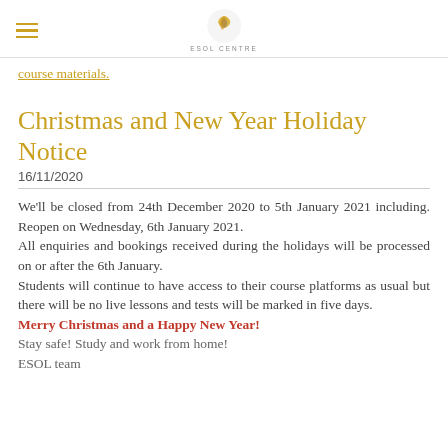ESOL CENTRE
course materials.
Christmas and New Year Holiday Notice
16/11/2020
We'll be closed from 24th December 2020 to 5th January 2021 including. Reopen on Wednesday, 6th January 2021.
All enquiries and bookings received during the holidays will be processed on or after the 6th January.
Students will continue to have access to their course platforms as usual but there will be no live lessons and tests will be marked in five days.
Merry Christmas and a Happy New Year!
Stay safe! Study and work from home!
ESOL team